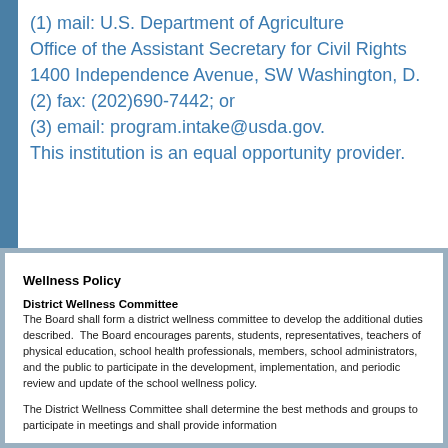(1) mail: U.S. Department of Agriculture
Office of the Assistant Secretary for Civil Rights
1400 Independence Avenue, SW Washington, D.
(2) fax: (202)690-7442; or
(3) email: program.intake@usda.gov.
This institution is an equal opportunity provider.
Wellness Policy
District Wellness Committee
The Board shall form a district wellness committee to develop the additional duties described. The Board encourages parents, students, representatives, teachers of physical education, school health professionals, members, school administrators, and the public to participate in the development, implementation, and periodic review and update of the school wellness policy.
The District Wellness Committee shall determine the best methods and groups to participate in meetings and shall provide information...